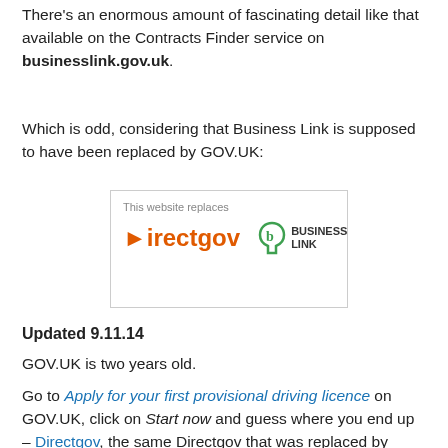There's an enormous amount of fascinating detail like that available on the Contracts Finder service on businesslink.gov.uk.
Which is odd, considering that Business Link is supposed to have been replaced by GOV.UK:
[Figure (screenshot): Screenshot of GOV.UK banner saying 'This website replaces Directgov [logo] BUSINESS LINK [logo]']
Updated 9.11.14
GOV.UK is two years old.
Go to Apply for your first provisional driving licence on GOV.UK, click on Start now and guess where you end up – Directgov, the same Directgov that was replaced by GOV.UK two years ago according to GDS.